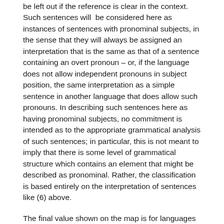be left out if the reference is clear in the context. Such sentences will be considered here as instances of sentences with pronominal subjects, in the sense that they will always be assigned an interpretation that is the same as that of a sentence containing an overt pronoun – or, if the language does not allow independent pronouns in subject position, the same interpretation as a simple sentence in another language that does allow such pronouns. In describing such sentences here as having pronominal subjects, no commitment is intended as to the appropriate grammatical analysis of such sentences; in particular, this is not meant to imply that there is some level of grammatical structure which contains an element that might be described as pronominal. Rather, the classification is based entirely on the interpretation of sentences like (6) above.
The final value shown on the map is for languages which involve a mixture of the first five types. This includes languages in which certain types of simple clauses require a pronoun in subject position, while other types of simple clauses do not. For example, in Jakaltek (Mayan; Guatemala), third person pronouns (which code noun class) are normally obligatory, while first and second person pronouns are normally absent (Craig 1977). Kenga (Central Sudanic; Chad) and Finnish are similar to